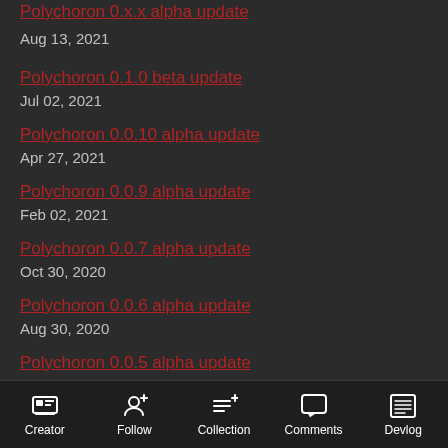[partial link top] Aug 13, 2021
Polychoron 0.1.0 beta update
Jul 02, 2021
Polychoron 0.0.10 alpha update
Apr 27, 2021
Polychoron 0.0.9 alpha update
Feb 02, 2021
Polychoron 0.0.7 alpha update
Oct 30, 2020
Polychoron 0.0.6 alpha update
Aug 30, 2020
Polychoron 0.0.5 alpha update
Jul 22, 2020
See all posts →
Creator  Follow  Collection  Comments  Devlog